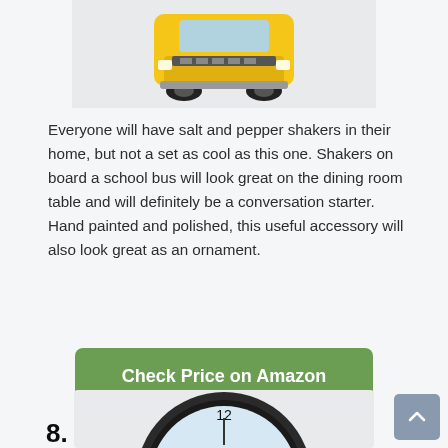[Figure (photo): Top portion of a school bus salt and pepper shaker product photo, showing the front of a yellow school bus, partially cropped at top]
Everyone will have salt and pepper shakers in their home, but not a set as cool as this one. Shakers on board a school bus will look great on the dining room table and will definitely be a conversation starter. Hand painted and polished, this useful accessory will also look great as an ornament.
[Figure (other): Green rounded rectangle button labeled 'Check Price on Amazon']
8. Clock
[Figure (photo): Partial view of a circular wall clock with black frame, light blue face showing number 12 at top, text 'Anyone can drive a Car' and a school bus illustration on the clock face]